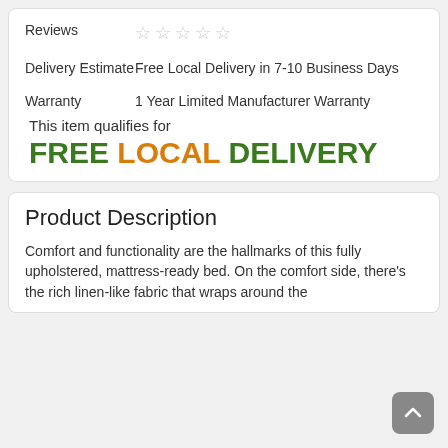Reviews ☆☆☆☆☆
Delivery Estimate  Free Local Delivery in 7-10 Business Days
Warranty  1 Year Limited Manufacturer Warranty
This item qualifies for FREE LOCAL DELIVERY
Product Description
Comfort and functionality are the hallmarks of this fully upholstered, mattress-ready bed. On the comfort side, there's the rich linen-like fabric that wraps around the